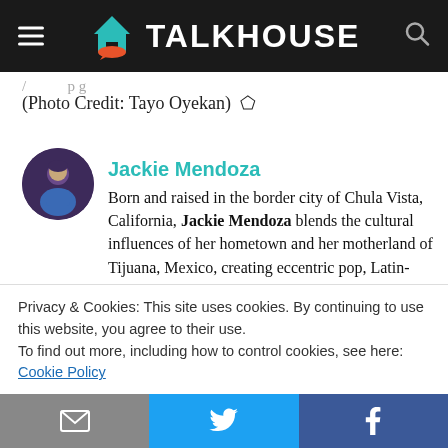TALKHOUSE
(Photo Credit: Tayo Oyekan) ⬟
Jackie Mendoza
Born and raised in the border city of Chula Vista, California, Jackie Mendoza blends the cultural influences of her hometown and her motherland of Tijuana, Mexico, creating eccentric pop, Latin-driven dance beats, and vibrant soundscapes. She's been involved in music since she was young, listening to Latin-pop at family parties and playing in bands in high school. It
Privacy & Cookies: This site uses cookies. By continuing to use this website, you agree to their use.
To find out more, including how to control cookies, see here: Cookie Policy